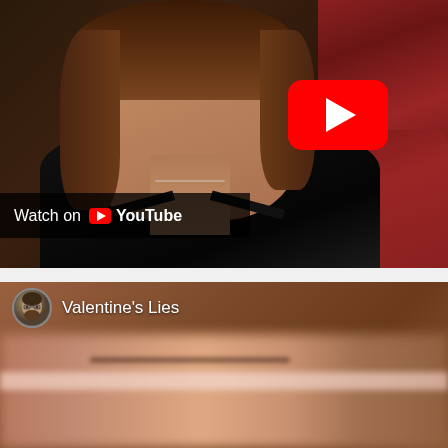[Figure (screenshot): YouTube video thumbnail showing a young woman in a black sleeveless top with a necklace, brown hair, looking slightly to the side. Background shows plaid fabric on the right and posters. A red YouTube play button is visible in the upper right. A 'Watch on YouTube' bar with YouTube logo appears at the bottom left.]
[Figure (screenshot): YouTube video embed showing channel avatar (man with glasses and beard) and title 'Valentine's Lies'. The video content below is blurred/out of focus showing warm brown tones with a horizontal light stripe.]